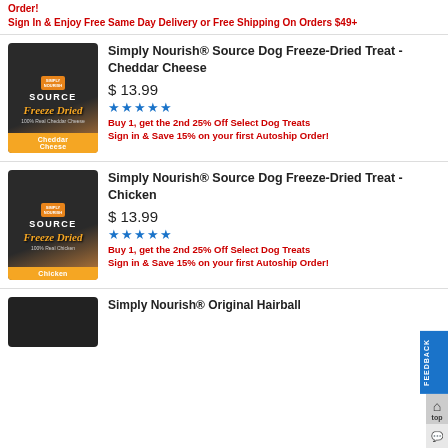Order! Sign In & Enjoy Free Same Day Delivery or Free Shipping On Orders $49+
[Figure (photo): Simply Nourish Source Freeze Dried dog treat bag - Cheddar Cheese flavor, dark packaging with orange label]
Simply Nourish® Source Dog Freeze-Dried Treat - Cheddar Cheese
$ 13.99
[Figure (other): 4.5 star rating shown in blue stars]
Buy 1, get the 2nd 25% Off Select Dog Treats Sign in & Save 15% on your first Autoship Order!
[Figure (photo): Simply Nourish Source Freeze Dried dog treat bag - Chicken flavor, dark packaging with orange label]
Simply Nourish® Source Dog Freeze-Dried Treat - Chicken
$ 13.99
[Figure (other): 4.5 star rating shown in blue stars]
Buy 1, get the 2nd 25% Off Select Dog Treats Sign in & Save 15% on your first Autoship Order!
[Figure (photo): Simply Nourish Original Hairball product - partially visible at bottom]
Simply Nourish® Original Hairball